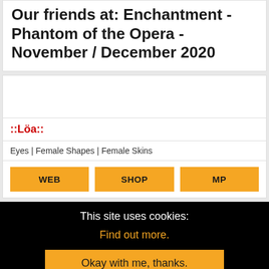Our friends at: Enchantment - Phantom of the Opera - November / December 2020
::Löa::
Eyes | Female Shapes | Female Skins
WEB | SHOP | MP
This site uses cookies:
Find out more.
Okay with me, thanks.